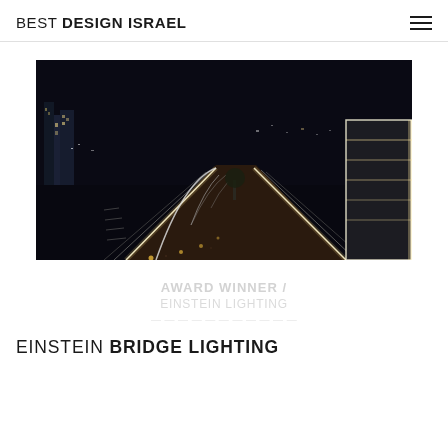BEST DESIGN ISRAEL
[Figure (photo): Nighttime photograph of the Einstein Bridge in Israel, showing an illuminated pedestrian/cycling path with glowing LED strip lights along the walkway, arched bridge structure visible in the background with city lights, and a building with lit edges on the right side.]
AWARD WINNER / EINSTEIN LIGHTING
EINSTEIN BRIDGE LIGHTING